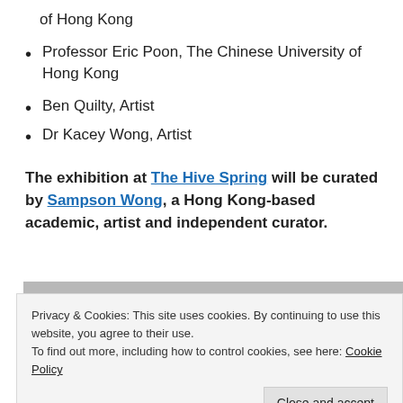of Hong Kong
Professor Eric Poon, The Chinese University of Hong Kong
Ben Quilty, Artist
Dr Kacey Wong, Artist
The exhibition at The Hive Spring will be curated by Sampson Wong, a Hong Kong-based academic, artist and independent curator.
[Figure (photo): A grey toned photograph partially visible at the bottom of the page]
Privacy & Cookies: This site uses cookies. By continuing to use this website, you agree to their use. To find out more, including how to control cookies, see here: Cookie Policy
Close and accept